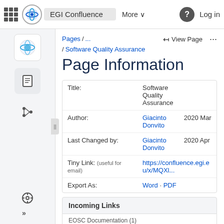EGI Confluence  More  Log in
Pages / ...
/ Software Quality Assurance
Page Information
| Field | Value | Date |
| --- | --- | --- |
| Title: | Software Quality Assurance |  |
| Author: | Giacinto Donvito | 2020 Mar |
| Last Changed by: | Giacinto Donvito | 2020 Apr |
| Tiny Link: (useful for email) | https://confluence.egi.eu/x/MQXl... |  |
| Export As: | Word · PDF |  |
Incoming Links
EOSC Documentation (1)
Federation services